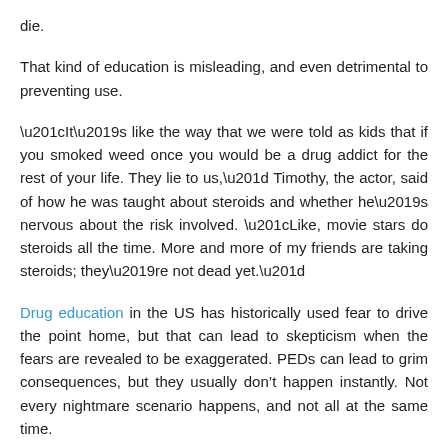die.
That kind of education is misleading, and even detrimental to preventing use.
“It’s like the way that we were told as kids that if you smoked weed once you would be a drug addict for the rest of your life. They lie to us,” Timothy, the actor, said of how he was taught about steroids and whether he’s nervous about the risk involved. “Like, movie stars do steroids all the time. More and more of my friends are taking steroids; they’re not dead yet.”
Drug education in the US has historically used fear to drive the point home, but that can lead to skepticism when the fears are revealed to be exaggerated. PEDs can lead to grim consequences, but they usually don’t happen instantly. Not every nightmare scenario happens, and not all at the same time.
The illegality of some PEDs is part of the problem in determining side